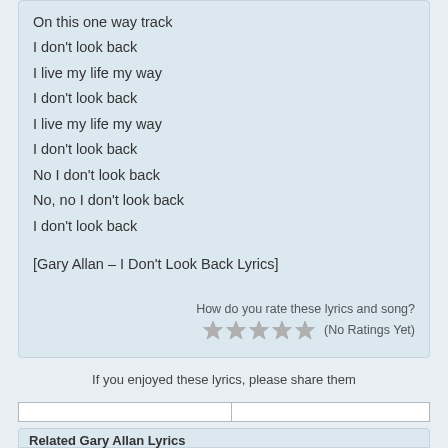On this one way track
I don't look back
I live my life my way
I don't look back
I live my life my way
I don't look back
No I don't look back
No, no I don't look back
I don't look back
[Gary Allan – I Don't Look Back Lyrics]
How do you rate these lyrics and song?
[Figure (other): Five grey star rating icons followed by text '(No Ratings Yet)']
If you enjoyed these lyrics, please share them
Related Gary Allan Lyrics